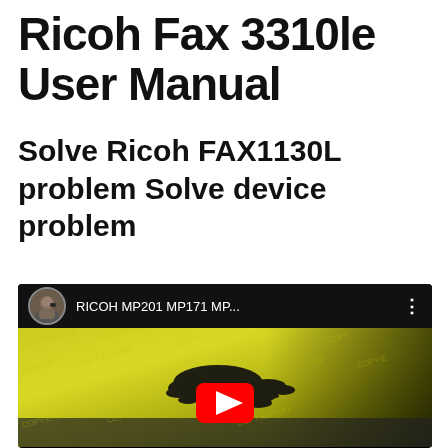Ricoh Fax 3310le User Manual
Solve Ricoh FAX1130L problem Solve device problem
[Figure (screenshot): YouTube video thumbnail showing a Ricoh printer with toner spill/splatter on a yellow surface. The video title bar reads 'RICOH MP201 MP171 MP...' with a circular avatar of a person holding a camera. A red YouTube play button is visible in the center of the thumbnail.]